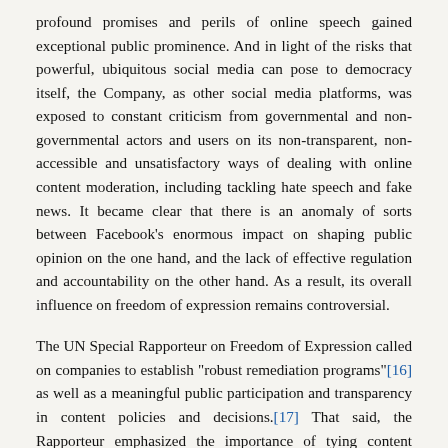profound promises and perils of online speech gained exceptional public prominence. And in light of the risks that powerful, ubiquitous social media can pose to democracy itself, the Company, as other social media platforms, was exposed to constant criticism from governmental and non-governmental actors and users on its non-transparent, non-accessible and unsatisfactory ways of dealing with online content moderation, including tackling hate speech and fake news. It became clear that there is an anomaly of sorts between Facebook's enormous impact on shaping public opinion on the one hand, and the lack of effective regulation and accountability on the other hand. As a result, its overall influence on freedom of expression remains controversial.
The UN Special Rapporteur on Freedom of Expression called on companies to establish "robust remediation programs"[16] as well as a meaningful public participation and transparency in content policies and decisions.[17] That said, the Rapporteur emphasized the importance of tying content moderation, in particular hate speech rule setting, to international human rights law. The Rapporteur explained that global and well-established international norms could provide an appropriate framework for global companies and users to